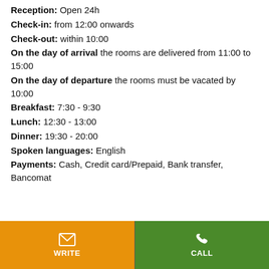Reception: Open 24h
Check-in: from 12:00 onwards
Check-out: within 10:00
On the day of arrival the rooms are delivered from 11:00 to 15:00
On the day of departure the rooms must be vacated by 10:00
Breakfast: 7:30 - 9:30
Lunch: 12:30 - 13:00
Dinner: 19:30 - 20:00
Spoken languages: English
Payments: Cash, Credit card/Prepaid, Bank transfer, Bancomat
[Figure (screenshot): Bottom navigation bar with orange WRITE button (envelope icon) and green CALL button (phone icon)]